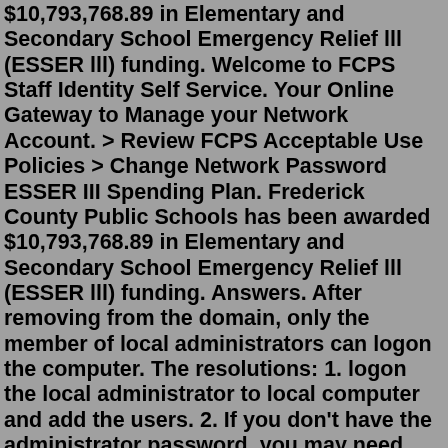$10,793,768.89 in Elementary and Secondary School Emergency Relief lll (ESSER lll) funding. Welcome to FCPS Staff Identity Self Service. Your Online Gateway to Manage your Network Account. > Review FCPS Acceptable Use Policies > Change Network Password ESSER III Spending Plan. Frederick County Public Schools has been awarded $10,793,768.89 in Elementary and Secondary School Emergency Relief lll (ESSER lll) funding. Answers. After removing from the domain, only the member of local administrators can logon the computer. The resolutions: 1. logon the local administrator to local computer and add the users. 2. If you don't have the administrator password, you may need your network administrator to help you.MyFairfax Login. MyFairfax is your home to conduct key online transactions with the county. This is an ongoing customer service initiative to provide you with faster and easier access to your county information in a secure environment. Residents have direct access to their Personal Property (Car) Tax, Business Personal